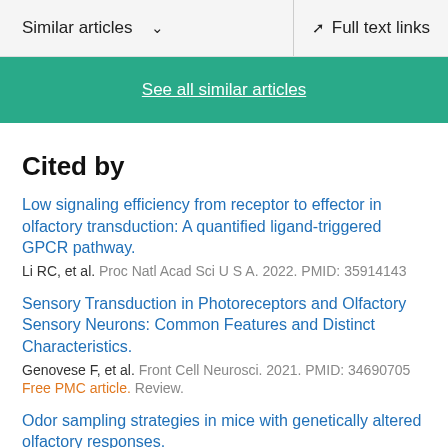Similar articles   ∨   Full text links
See all similar articles
Cited by
Low signaling efficiency from receptor to effector in olfactory transduction: A quantified ligand-triggered GPCR pathway.
Li RC, et al. Proc Natl Acad Sci U S A. 2022. PMID: 35914143
Sensory Transduction in Photoreceptors and Olfactory Sensory Neurons: Common Features and Distinct Characteristics.
Genovese F, et al. Front Cell Neurosci. 2021. PMID: 34690705
Free PMC article. Review.
Odor sampling strategies in mice with genetically altered olfactory responses.